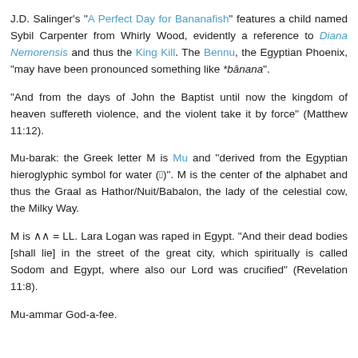J.D. Salinger's "A Perfect Day for Bananafish" features a child named Sybil Carpenter from Whirly Wood, evidently a reference to Diana Nemorensis and thus the King Kill. The Bennu, the Egyptian Phoenix, "may have been pronounced something like *bānana".
"And from the days of John the Baptist until now the kingdom of heaven suffereth violence, and the violent take it by force" (Matthew 11:12).
Mu-barak: the Greek letter M is Mu and "derived from the Egyptian hieroglyphic symbol for water (𓈗)". M is the center of the alphabet and thus the Graal as Hathor/Nuit/Babalon, the lady of the celestial cow, the Milky Way.
M is ∧∧ = LL. Lara Logan was raped in Egypt. "And their dead bodies [shall lie] in the street of the great city, which spiritually is called Sodom and Egypt, where also our Lord was crucified" (Revelation 11:8).
Mu-ammar God-a-fee.